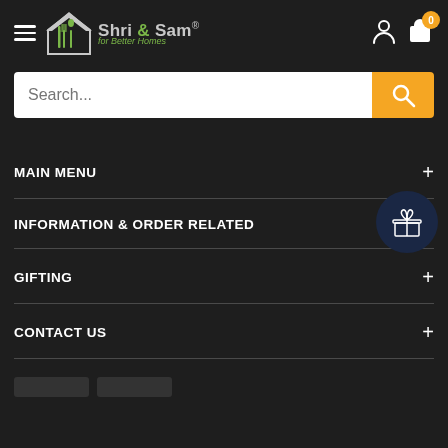[Figure (logo): Shri & Sam logo with house icon and 'for Better Homes' tagline]
Search...
MAIN MENU
INFORMATION & ORDER RELATED
GIFTING
CONTACT US